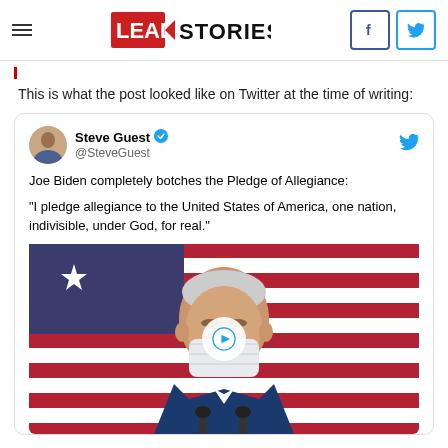Lead Stories
This is what the post looked like on Twitter at the time of writing:
[Figure (screenshot): Embedded tweet by Steve Guest (@SteveGuest) reading: 'Joe Biden completely botches the Pledge of Allegiance: "I pledge allegiance to the United States of America, one nation, indivisible, under God, for real."' with a video thumbnail showing Joe Biden wearing a mask in front of an American flag, with a play button overlay.]